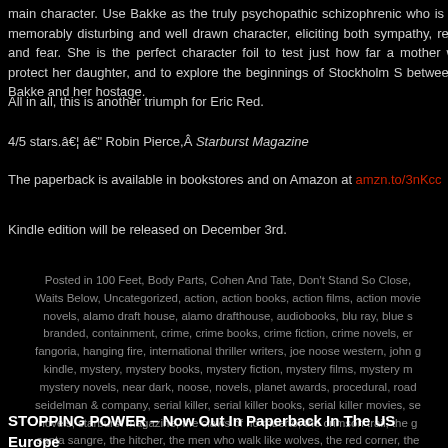main character. Use Bakke as the truly psychopathic schizophrenic memorably disturbing and well drawn character, eliciting both sympathy, repulsion and fear. She is the perfect character foil to test just how far a mother will protect her daughter, and to explore the beginnings of Stockholm Syndrome between Bakke and her hostage.
All in all, this is another triumph for Eric Red.
4/5 stars.â€¦ â€“ Robin Pierce,Â Starburst Magazine
The paperback is available in bookstores and on Amazon at amzn.to/3nKcc
Kindle edition will be released on December 3rd.
Posted in 100 Feet, Body Parts, Cohen And Tate, Don't Stand So Close, It Waits Below, Uncategorized, action, action books, action films, action movies, novels, alamo draft house, alamo drafthouse, audiobooks, blu ray, blue s branded, containment, crime, crime books, crime fiction, crime novels, er fangoria, hanging fire, international thriller writers, joe noose western, john g kindle, mystery, mystery books, mystery fiction, mystery films, mystery m mystery novels, near dark, noose, novels, planet awards, procedural, road seidelman & company, serial killer, serial killer books, serial killer movies, se novels, starburst magazine, the claws of rio muerto, the crimson trail, the g santa sangre, the hitcher, the men who walk like wolves, the red corner, the of el diablo, thriller, thriller books, thriller films, thriller movies, thriller nov Comments Off
STOPPING POWER – Now Out In Paperback In The US & Europe